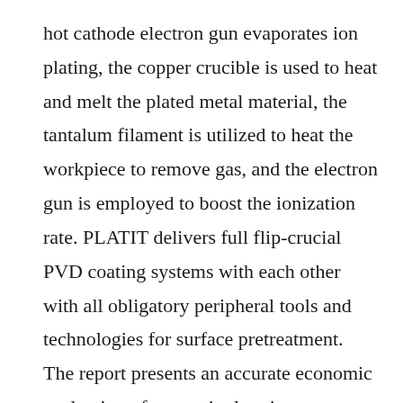hot cathode electron gun evaporates ion plating, the copper crucible is used to heat and melt the plated metal material, the tantalum filament is utilized to heat the workpiece to remove gas, and the electron gun is employed to boost the ionization rate. PLATIT delivers full flip-crucial PVD coating systems with each other with all obligatory peripheral tools and technologies for surface pretreatment. The report presents an accurate economic evaluation of every single primary Competitor based mainly on their enterprise data that involves estimation of gross margin, Pvd Coating Machines sales quantity, profitability, pricing erection, item worth, price structure, revenue, and progress charge. It is well recognized that vacuum coating machine is a huge processing equipment, its itself is no